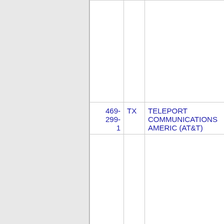|  |  |  |  |  |
| 469-
299-
1 | TX | TELEPORT COMMUNICATIONS AMERIC (AT&T) | 7148 |  |